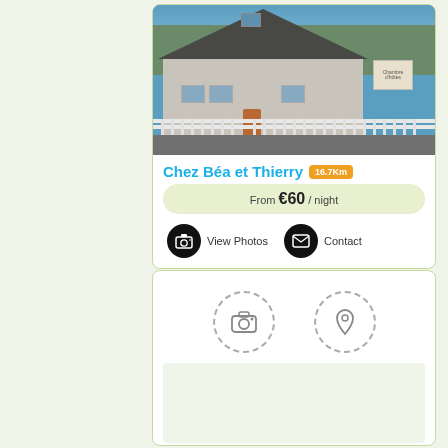[Figure (photo): Photo of a French bed and breakfast house with a grey roof, white picket fence, and a sign reading 'Chambre d'hôtes'. Blue sky visible at the top.]
Chez Béa et Thierry 16.7Km
From €60 / night
View Photos
Contact
[Figure (other): Card with a dashed camera icon and a dashed map pin/location icon, likely representing photos and map placeholders for another listing.]